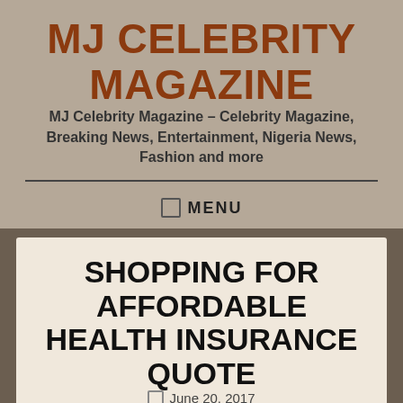MJ CELEBRITY MAGAZINE
MJ Celebrity Magazine – Celebrity Magazine, Breaking News, Entertainment, Nigeria News, Fashion and more
☰  MENU
SHOPPING FOR AFFORDABLE HEALTH INSURANCE QUOTE
June 20, 2017